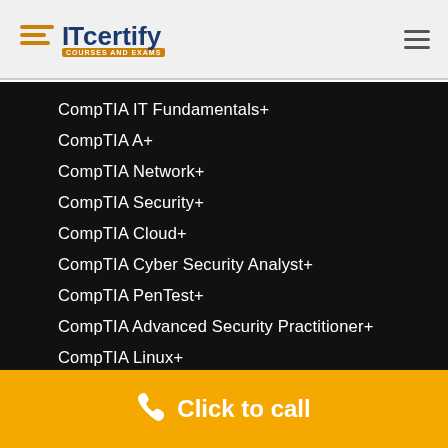ITcertify
CompTIA IT Fundamentals+
CompTIA A+
CompTIA Network+
CompTIA Security+
CompTIA Cloud+
CompTIA Cyber Security Analyst+
CompTIA PenTest+
CompTIA Advanced Security Practitioner+
CompTIA Linux+
CompTIA Mobility+
Click to call